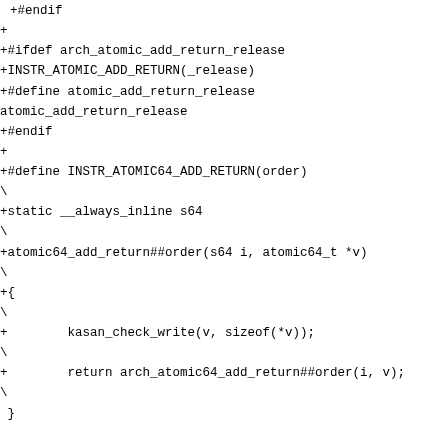+#endif
+
+#ifdef arch_atomic_add_return_release
+INSTR_ATOMIC_ADD_RETURN(_release)
+#define atomic_add_return_release
atomic_add_return_release
+#endif
+
+#define INSTR_ATOMIC64_ADD_RETURN(order)\
+static __always_inline s64\
+atomic64_add_return##order(s64 i, atomic64_t *v)\
+{\
+        kasan_check_write(v, sizeof(*v));\
+        return arch_atomic64_add_return##order(i, v);\
 }

-static __always_inline int atomic_sub_return(int i,
atomic_t *v)
-{
-        kasan_check_write(v, sizeof(*v));
-        return arch_atomic_sub_return(i, v);
+INSTR_ATOMIC64_ADD_RETURN()
+
+#ifdef arch_atomic64_add_return_relaxed
+INSTR_ATOMIC64_ADD_RETURN(_relaxed)